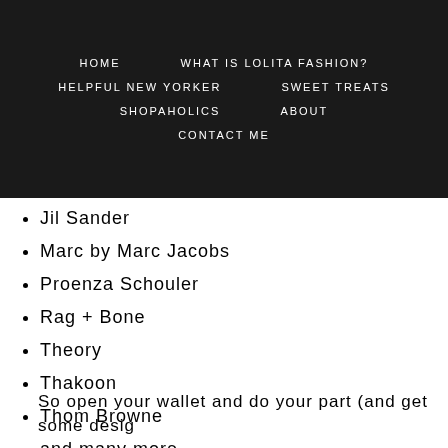HOME | WHAT IS LOLITA FASHION? | HELPFUL NEW YORKER | SWEET TREATS | SHOPAHOLICS | ABOUT | CONTACT ME
Alexander Wang
Anna + Olivia
Altuzarra
Derek Lam
Diane von Furstenburg
Helmut Lang
Jil Sander
Marc by Marc Jacobs
Proenza Schouler
Rag + Bone
Theory
Thakoon
Thom Browne
and many more
So open your wallet and do your part (and get some desig